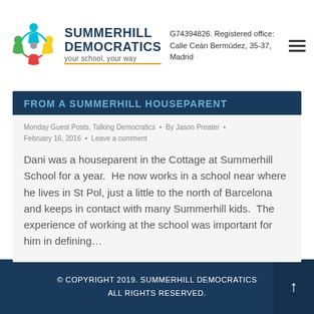SUMMERHILL DEMOCRATICS your school, your way | G74394826. Registered office: Calle Ceán Bermúdez, 35-37, Madrid
FROM A SUMMERHILL HOUSEPARENT
Monday Guest Posts, Talking Democratics • By Jason Preater • February 16, 2016 • Leave a comment
Dani was a houseparent in the Cottage at Summerhill School for a year.  He now works in a school near where he lives in St Pol, just a little to the north of Barcelona and keeps in contact with many Summerhill kids.  The experience of working at the school was important for him in defining…
© COPYRIGHT 2019. SUMMERHILL DEMOCRATICS ALL RIGHTS RESERVED.